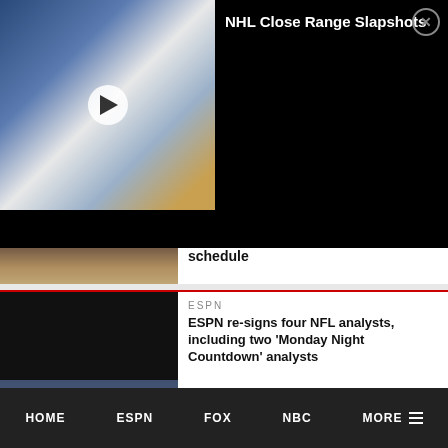[Figure (screenshot): NHL hockey video thumbnail showing two players near goal, with play button overlay]
NHL Close Range Slapshots
[Figure (photo): Partial sports schedule article thumbnail]
schedule
[Figure (photo): ESPN Monday Night Countdown banner inside stadium]
ESPN
ESPN re-signs four NFL analysts, including two ‘Monday Night Countdown’ analysts
[Figure (photo): Jon Gruden at Little Rock Touchdown event]
ESPN
Jon Gruden gets choked up addressing “shameful” emails and claims ESPN
HOME    ESPN    FOX    NBC    MORE